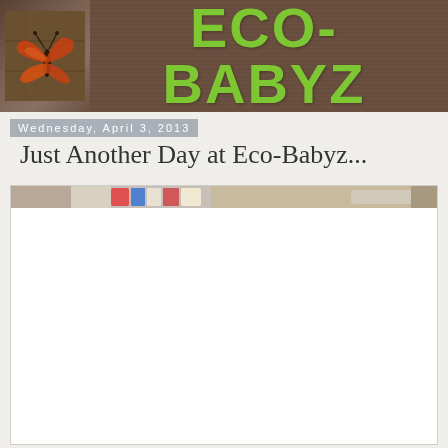[Figure (logo): ECO-BABYZ blog header banner with brown/tan texture background, orange butterfly on left side, and large green ECO-BABYZ text]
Wednesday, April 3, 2013
Just Another Day at Eco-Babyz...
[Figure (photo): Partial photo strip showing colorful items on a wooden surface, appears to be toys or baby items]